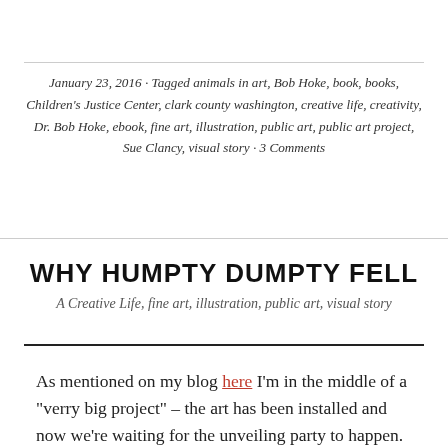January 23, 2016 · Tagged animals in art, Bob Hoke, book, books, Children's Justice Center, clark county washington, creative life, creativity, Dr. Bob Hoke, ebook, fine art, illustration, public art, public art project, Sue Clancy, visual story · 3 Comments
WHY HUMPTY DUMPTY FELL
A Creative Life, fine art, illustration, public art, visual story
As mentioned on my blog here I'm in the middle of a "verry big project" – the art has been installed and now we're waiting for the unveiling party to happen. In the meantime I've begun some new art projects and over lunch today I wondered, as I'm sure you did,